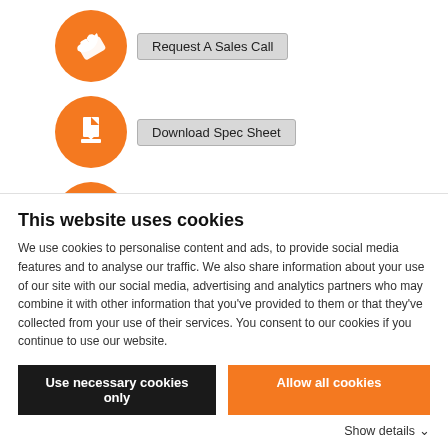[Figure (screenshot): Orange circle button with phone icon and 'Request A Sales Call' label]
[Figure (screenshot): Orange circle button with document icon and 'Download Spec Sheet' label]
[Figure (screenshot): Orange circle button with document icon and 'Download Manual' label]
The Model 7400TP4G8 is a self-contained, forced air-cooled, broadband traveling wave tube (TWT) microwave amplifier system designed for pulse
This website uses cookies
We use cookies to personalise content and ads, to provide social media features and to analyse our traffic. We also share information about your use of our site with our social media, advertising and analytics partners who may combine it with other information that you've provided to them or that they've collected from your use of their services. You consent to our cookies if you continue to use our website.
Use necessary cookies only
Allow all cookies
Show details